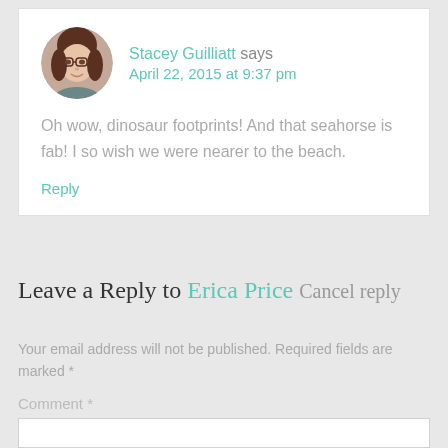[Figure (photo): Circular avatar photo of a woman with glasses and dark hair]
Stacey Guilliatt says
April 22, 2015 at 9:37 pm
Oh wow, dinosaur footprints! And that seahorse is fab! I so wish we were nearer to the beach.
Reply
Leave a Reply to Erica Price Cancel reply
Your email address will not be published. Required fields are marked *
Comment *